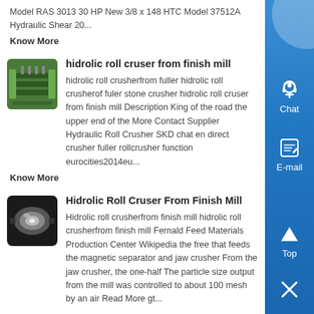Model RAS 3013 30 HP New 3/8 x 148 HTC Model 37512A Hydraulic Shear 20...
Know More
[Figure (photo): Green industrial roll crusher machine thumbnail]
hidrolic roll cruser from finish mill
hidrolic roll crusherfrom fuller hidrolic roll crusherof fuler stone crusher hidrolic roll cruser from finish mill Description King of the road the upper end of the More Contact Supplier Hydraulic Roll Crusher SKD chat en direct crusher fuller rollcrusher function eurocities2014eu...
Know More
[Figure (photo): Industrial roll crusher machine with metallic rollers thumbnail]
Hidrolic Roll Cruser From Finish Mill
Hidrolic roll crusherfrom finish mill hidrolic roll crusherfrom finish mill Fernald Feed Materials Production Center Wikipedia the free that feeds the magnetic separator and jaw crusher From the jaw crusher, the one-half The particle size output from the mill was controlled to about 100 mesh by an air Read More gt...